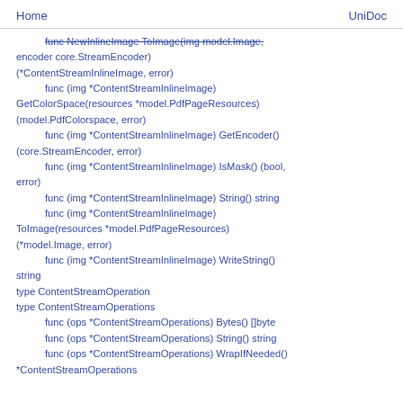Home    UniDoc
func NewInlineImage ToImage(img model.Image, encoder core.StreamEncoder) (*ContentStreamInlineImage, error)
    func (img *ContentStreamInlineImage) GetColorSpace(resources *model.PdfPageResources) (model.PdfColorspace, error)
    func (img *ContentStreamInlineImage) GetEncoder() (core.StreamEncoder, error)
    func (img *ContentStreamInlineImage) IsMask() (bool, error)
    func (img *ContentStreamInlineImage) String() string
    func (img *ContentStreamInlineImage) ToImage(resources *model.PdfPageResources) (*model.Image, error)
    func (img *ContentStreamInlineImage) WriteString() string
type ContentStreamOperation
type ContentStreamOperations
    func (ops *ContentStreamOperations) Bytes() []byte
    func (ops *ContentStreamOperations) String() string
    func (ops *ContentStreamOperations) WrapIfNeeded() *ContentStreamOperations